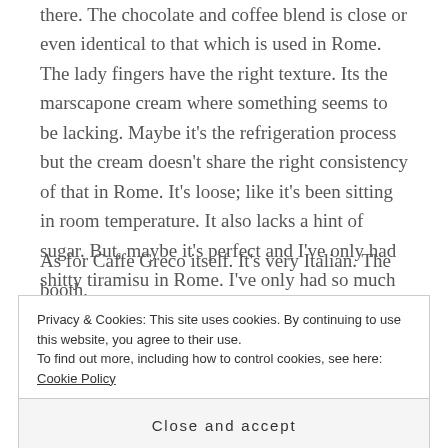there.  The chocolate and coffee blend is close or even identical to that which is used in Rome.  The lady fingers have the right texture.  Its the marscapone cream where something seems to be lacking.  Maybe it's the refrigeration process but the cream doesn't share the right consistency of that in Rome.  It's loose; like it's been sitting in room temperature.  It also lacks a hint of sugar.  But, maybe it's perfect and I've only had shitty tiramisu in Rome.  I've only had so much tiramisu that maybe San Francisco gets it right.  Who knows.
As for Caffe Greco itself.  It's very Italian.  The booth,
Privacy & Cookies: This site uses cookies. By continuing to use this website, you agree to their use.
To find out more, including how to control cookies, see here: Cookie Policy
Close and accept
Windows Vista.  Across from me are three men passed